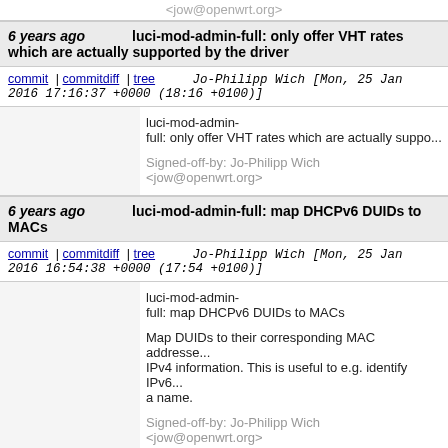jow@openwrt.org
6 years ago   luci-mod-admin-full: only offer VHT rates which are actually supported by the driver
commit | commitdiff | tree   Jo-Philipp Wich [Mon, 25 Jan 2016 17:16:37 +0000 (18:16 +0100)]
luci-mod-admin-full: only offer VHT rates which are actually supported by the driver

Signed-off-by: Jo-Philipp Wich <jow@openwrt.org>
6 years ago   luci-mod-admin-full: map DHCPv6 DUIDs to MACs
commit | commitdiff | tree   Jo-Philipp Wich [Mon, 25 Jan 2016 16:54:38 +0000 (17:54 +0100)]
luci-mod-admin-full: map DHCPv6 DUIDs to MACs

Map DUIDs to their corresponding MAC addresses and any associated IPv4 information. This is useful to e.g. identify IPv6 clients by a name.

Signed-off-by: Jo-Philipp Wich <jow@openwrt.org>
6 years ago   luci-mod-admin-full: fix displaying of VHT rates (#F33)